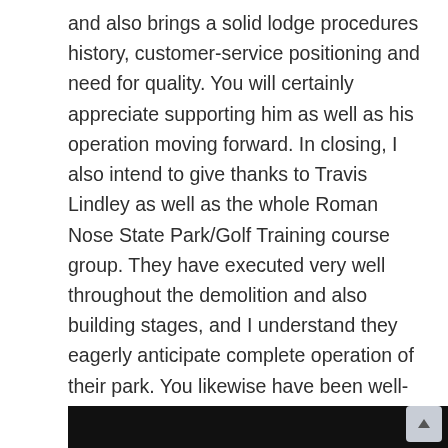and also brings a solid lodge procedures history, customer-service positioning and need for quality. You will certainly appreciate supporting him as well as his operation moving forward. In closing, I also intend to give thanks to Travis Lindley as well as the whole Roman Nose State Park/Golf Training course group. They have executed very well throughout the demolition and also building stages, and I understand they eagerly anticipate complete operation of their park. You likewise have been well-served by the strong assistance of Senator Justice and also Rep Sanders, Lt. Governor Askins, Commissioners as well as others through this entire procedure. Mainly though, I thank you for your assistance via this entire procedure.
[Figure (photo): Dark/black image bar at the bottom of the page, partially visible]